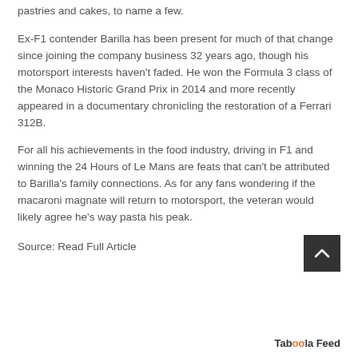pastries and cakes, to name a few.
Ex-F1 contender Barilla has been present for much of that change since joining the company business 32 years ago, though his motorsport interests haven't faded. He won the Formula 3 class of the Monaco Historic Grand Prix in 2014 and more recently appeared in a documentary chronicling the restoration of a Ferrari 312B.
For all his achievements in the food industry, driving in F1 and winning the 24 Hours of Le Mans are feats that can't be attributed to Barilla's family connections. As for any fans wondering if the macaroni magnate will return to motorsport, the veteran would likely agree he's way pasta his peak.
Source: Read Full Article
[Figure (other): Back to top button - dark square with upward chevron arrow]
Taboola Feed